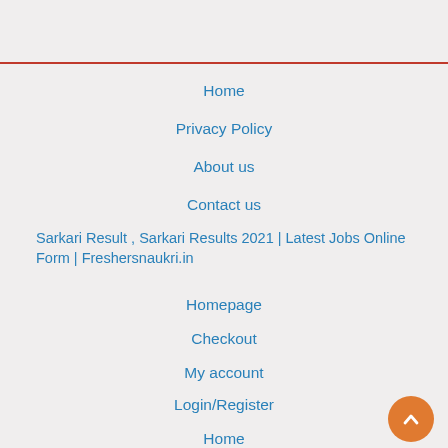Home
Privacy Policy
About us
Contact us
Sarkari Result , Sarkari Results 2021 | Latest Jobs Online Form | Freshersnaukri.in
Homepage
Checkout
My account
Login/Register
Home
Homepage For website
Slots with attractive letters or Symbols – What Does It mean?
How to Find Free Slots And Casino Games On The Internet
#8937 (no title)